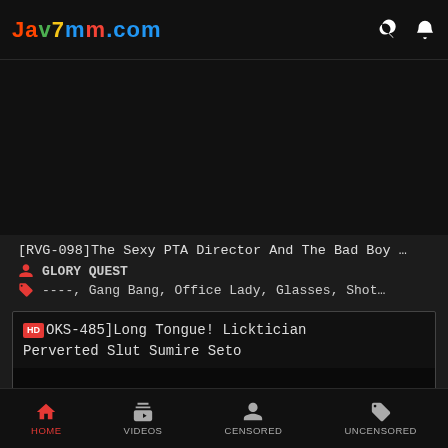Jav7mm.com
[Figure (screenshot): Dark thumbnail placeholder area for video content]
[RVG-098]The Sexy PTA Director And The Bad Boy …
GLORY QUEST
----, Gang Bang, Office Lady, Glasses, Shot…
[HD] [OKS-485]Long Tongue! Licktician Perverted Slut Sumire Seto
HOME   VIDEOS   CENSORED   UNCENSORED